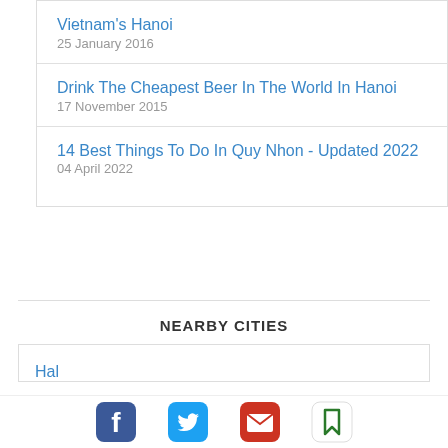Vietnam's Hanoi
25 January 2016
Drink The Cheapest Beer In The World In Hanoi
17 November 2015
14 Best Things To Do In Quy Nhon - Updated 2022
04 April 2022
NEARBY CITIES
Hal
[Figure (infographic): Social share icons: Facebook (blue), Twitter (blue), Email (red), Bookmark (green outline)]